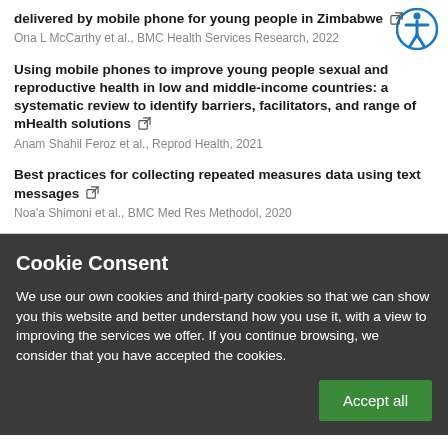delivered by mobile phone for young people in Zimbabwe
Ona L McCarthy et al., BMC Health Services Research, 2022
Using mobile phones to improve young people sexual and reproductive health in low and middle-income countries: a systematic review to identify barriers, facilitators, and range of mHealth solutions
Anam Shahil Feroz et al., Reprod Health, 2021
Best practices for collecting repeated measures data using text messages
Noa'a Shimoni et al., BMC Med Res Methodol, 2020
Cookie Consent
We use our own cookies and third-party cookies so that we can show you this website and better understand how you use it, with a view to improving the services we offer. If you continue browsing, we consider that you have accepted the cookies.
Accept all